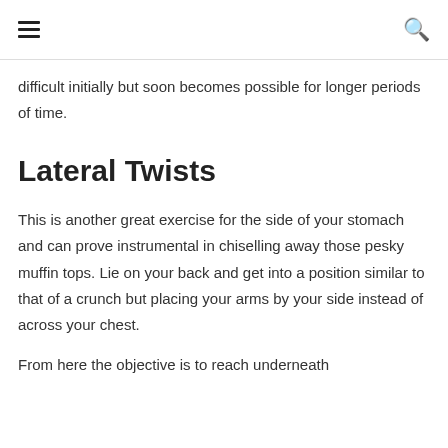≡  🔍
difficult initially but soon becomes possible for longer periods of time.
Lateral Twists
This is another great exercise for the side of your stomach and can prove instrumental in chiselling away those pesky muffin tops. Lie on your back and get into a position similar to that of a crunch but placing your arms by your side instead of across your chest.
From here the objective is to reach underneath